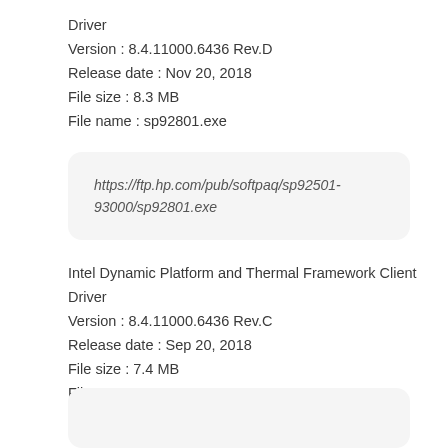Driver
Version : 8.4.11000.6436 Rev.D
Release date : Nov 20, 2018
File size : 8.3 MB
File name : sp92801.exe
https://ftp.hp.com/pub/softpaq/sp92501-93000/sp92801.exe
Intel Dynamic Platform and Thermal Framework Client Driver
Version : 8.4.11000.6436 Rev.C
Release date : Sep 20, 2018
File size : 7.4 MB
File name : sp92007.exe